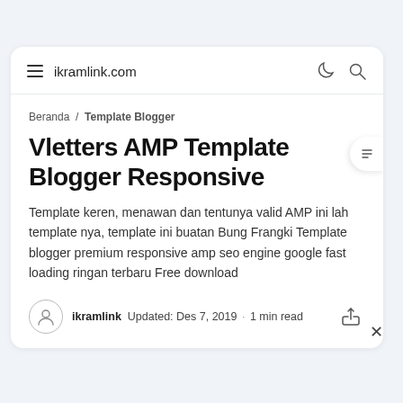ikramlink.com
Beranda / Template Blogger
Vletters AMP Template Blogger Responsive
Template keren, menawan dan tentunya valid AMP ini lah template nya, template ini buatan Bung Frangki Template blogger premium responsive amp seo engine google fast loading ringan terbaru Free download
ikramlink  Updated: Des 7, 2019  · 1 min read